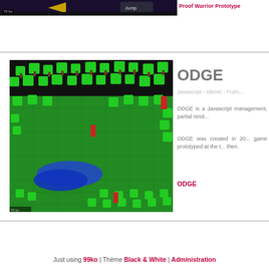[Figure (screenshot): Top partial screenshot of a game with dark purple background and yellow arrow, showing a 'Jump' button UI element]
Proof Warrior Prototype
[Figure (screenshot): Isometric game screenshot showing a 3D forest scene with green cubic trees, brown trunks, a blue water area, and red marker objects on a green grid map. Size badge '75 ko' visible.]
ODGE
Javascript - IdemK - Fram...
ODGE is a Javascript management, partial rend...
ODGE was created in 20... game prototyped at the t... then.
ODGE
Just using 99ko | Thème Black & White | Administration